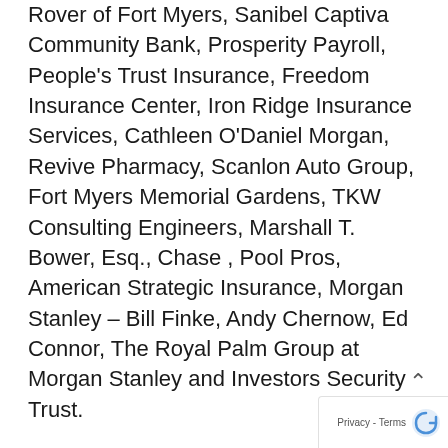Rover of Fort Myers, Sanibel Captiva Community Bank, Prosperity Payroll, People's Trust Insurance, Freedom Insurance Center, Iron Ridge Insurance Services, Cathleen O'Daniel Morgan, Revive Pharmacy, Scanlon Auto Group, Fort Myers Memorial Gardens, TKW Consulting Engineers, Marshall T. Bower, Esq., Chase , Pool Pros, American Strategic Insurance, Morgan Stanley – Bill Finke, Andy Chernow, Ed Connor, The Royal Palm Group at Morgan Stanley and Investors Security Trust.
The Rotary Club of Fort Myers – Sunrise includes 34 members who attend weekly meetings and raise money for various efforts including The Foundation for Lee County Public Schools, Gift of Life – Florida, Florida Sheriff's Youth Ranch, Lakes Park Enrichment Foundation, the Heights Foundation, Blessings in a Backpack, hunger organizations and